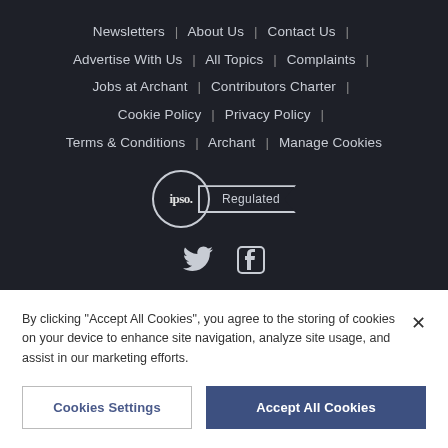Newsletters | About Us | Contact Us | Advertise With Us | All Topics | Complaints | Jobs at Archant | Contributors Charter | Cookie Policy | Privacy Policy | Terms & Conditions | Archant | Manage Cookies
[Figure (logo): IPSO Regulated badge - circle with IPSO text and ribbon saying Regulated]
[Figure (illustration): Twitter and Facebook social media icons]
By clicking "Accept All Cookies", you agree to the storing of cookies on your device to enhance site navigation, analyze site usage, and assist in our marketing efforts.
Cookies Settings
Accept All Cookies